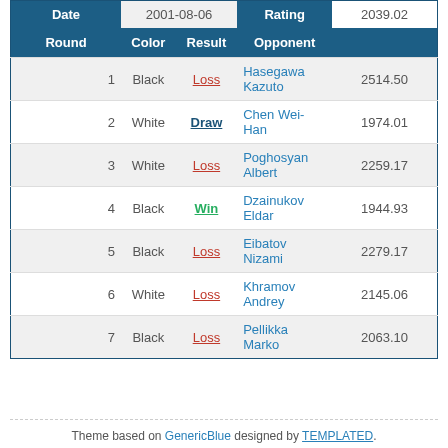| Date | 2001-08-06 | Rating | 2039.02 |
| --- | --- | --- | --- |
| Round | Color | Result | Opponent |  |
| 1 | Black | Loss | Hasegawa Kazuto | 2514.50 |
| 2 | White | Draw | Chen Wei-Han | 1974.01 |
| 3 | White | Loss | Poghosyan Albert | 2259.17 |
| 4 | Black | Win | Dzainukov Eldar | 1944.93 |
| 5 | Black | Loss | Eibatov Nizami | 2279.17 |
| 6 | White | Loss | Khramov Andrey | 2145.06 |
| 7 | Black | Loss | Pellikka Marko | 2063.10 |
Theme based on GenericBlue designed by TEMPLATED.